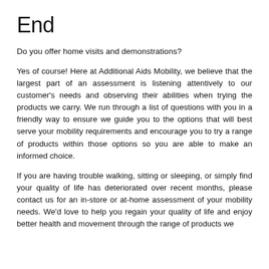End
Do you offer home visits and demonstrations?
Yes of course! Here at Additional Aids Mobility, we believe that the largest part of an assessment is listening attentively to our customer's needs and observing their abilities when trying the products we carry. We run through a list of questions with you in a friendly way to ensure we guide you to the options that will best serve your mobility requirements and encourage you to try a range of products within those options so you are able to make an informed choice.
If you are having trouble walking, sitting or sleeping, or simply find your quality of life has deteriorated over recent months, please contact us for an in-store or at-home assessment of your mobility needs. We'd love to help you regain your quality of life and enjoy better health and movement through the range of products we offer.